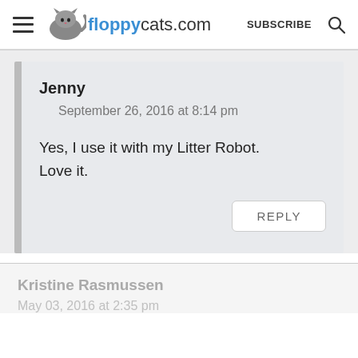floppycats.com  SUBSCRIBE
Jenny
September 26, 2016 at 8:14 pm
Yes, I use it with my Litter Robot. Love it.
REPLY
Kristine Rasmussen
May 03, 2016 at 2:35 pm